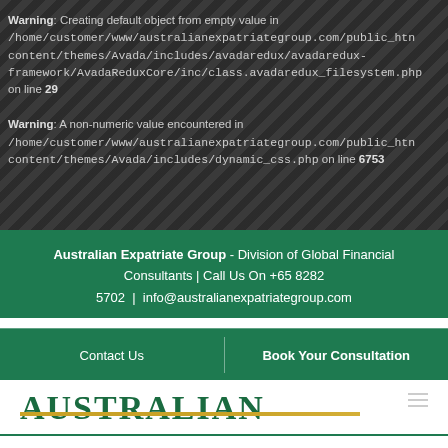Warning: Creating default object from empty value in /home/customer/www/australianexpatriategroup.com/public_html/wp-content/themes/Avada/includes/avadaredux/avadaredux-framework/AvadaReduxCore/inc/class.avadaredux_filesystem.php on line 29
Warning: A non-numeric value encountered in /home/customer/www/australianexpatriategroup.com/public_html/wp-content/themes/Avada/includes/dynamic_css.php on line 6753
Australian Expatriate Group - Division of Global Financial Consultants | Call Us On +65 8282 5702 | info@australianexpatriategroup.com
Contact Us
Book Your Consultation
[Figure (logo): Australian Expatriate Group logo - text 'AUSTRALIAN' in large green serif font with gold underline]
Australian Budget 2017 – Exclusive Workshop